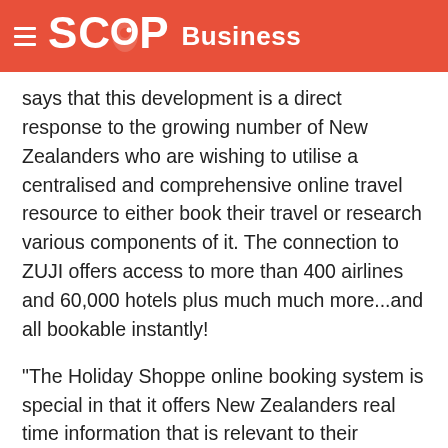SCOOP Business
says that this development is a direct response to the growing number of New Zealanders who are wishing to utilise a centralised and comprehensive online travel resource to either book their travel or research various components of it. The connection to ZUJI offers access to more than 400 airlines and 60,000 hotels plus much much more...and all bookable instantly!
“The Holiday Shoppe online booking system is special in that it offers New Zealanders real time information that is relevant to their individual needs,” says Lawley.
“Our online technology platform is an integral part of the Holiday Shoppe strategy to move forward with our